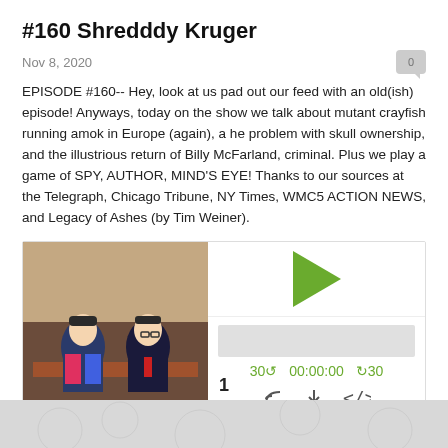#160 Shredddy Kruger
Nov 8, 2020
EPISODE #160-- Hey, look at us pad out our feed with an old(ish) episode! Anyways, today on the show we talk about mutant crayfish running amok in Europe (again), a he problem with skull ownership, and the illustrious return of Billy McFarland, criminal. Plus we play a game of SPY, AUTHOR, MIND'S EYE! Thanks to our sources at the Telegraph, Chicago Tribune, NY Times, WMC5 ACTION NEWS, and Legacy of Ashes (by Tim Weiner).
[Figure (screenshot): Podcast audio player with thumbnail image of two cartoon characters at a news desk, play button, progress bar, time counter showing 00:00:00, and playback controls]
Download this Episode
1